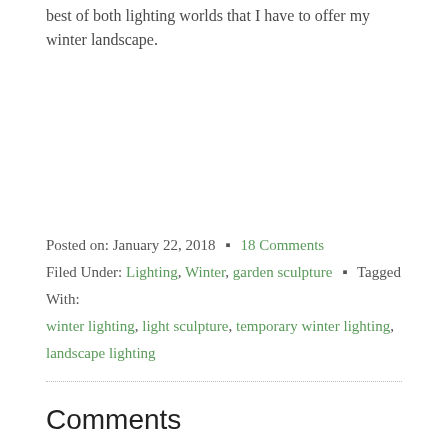best of both lighting worlds that I have to offer my winter landscape.
Posted on: January 22, 2018 • 18 Comments
Filed Under: Lighting, Winter, garden sculpture • Tagged With: winter lighting, light sculpture, temporary winter lighting, landscape lighting
Comments
Annette E says
January 22, 2018 at 9:12 am
I love this snow glow post! ❤